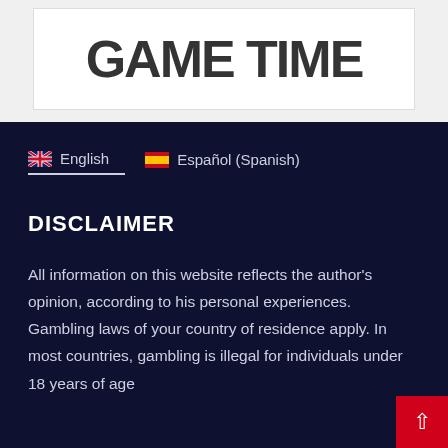[Figure (screenshot): Partial screenshot of a website banner showing bold text 'GAME TIME' in large uppercase letters on a dark background, cropped at top]
🇬🇧 English
🇪🇸 Español (Spanish)
DISCLAIMER
All information on this website reflects the author's opinion, according to his personal experiences. Gambling laws of your country of residence apply. In most countries, gambling is illegal for individuals under 18 years of age